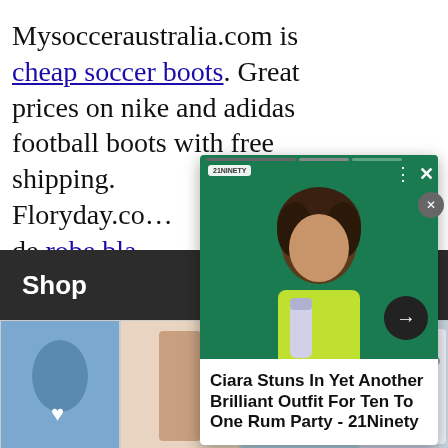Mysocceraustralia.com is cheap soccer boots. Great prices on nike and adidas football boots with free shipping. Floryday.co… de robe bla…
Exclusive re…
[Figure (screenshot): Advertisement overlay showing a woman in a neon green outfit holding a bottle, with caption: Ciara Stuns In Yet Another Brilliant Outfit For Ten To One Rum Party - 21Ninety]
Shop
[Figure (photo): Thumbnail strip of women's clothing items from an online shop, with Bernylook logo]